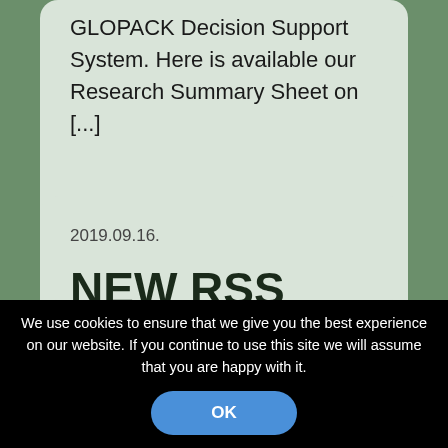GLOPACK Decision Support System. Here is available our Research Summary Sheet on [...]
MORE
2019.09.16.
NEW RSS ALERT!
We use cookies to ensure that we give you the best experience on our website. If you continue to use this site we will assume that you are happy with it.
OK